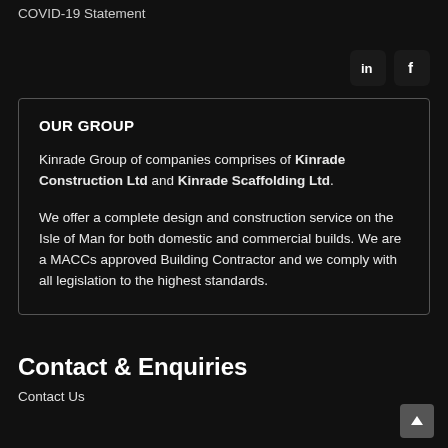COVID-19 Statement
[Figure (logo): LinkedIn and Facebook social media icons (rounded square icons with 'in' and 'f' symbols)]
OUR GROUP
Kinrade Group of companies comprises of Kinrade Construction Ltd and Kinrade Scaffolding Ltd.
We offer a complete design and construction service on the Isle of Man for both domestic and commercial builds. We are a MACCs approved Building Contractor and we comply with all legislation to the highest standards.
Contact & Enquiries
Contact Us